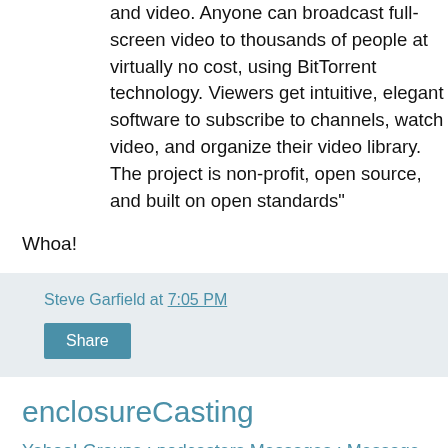and video. Anyone can broadcast full-screen video to thousands of people at virtually no cost, using BitTorrent technology. Viewers get intuitive, elegant software to subscribe to channels, watch video, and organize their video library. The project is non-profit, open source, and built on open standards"
Whoa!
Steve Garfield at 7:05 PM
Share
enclosureCasting
Yahoo! Groups : podcasters Messages : Message 4618 of 4655:
Eric Rice: "Maybe we could all be nerdy to the nTH degree and say 'enclosureCasting', because